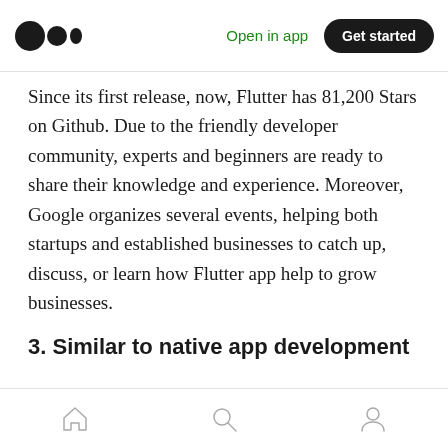Medium logo | Open in app | Get started
Since its first release, now, Flutter has 81,200 Stars on Github. Due to the friendly developer community, experts and beginners are ready to share their knowledge and experience. Moreover, Google organizes several events, helping both startups and established businesses to catch up, discuss, or learn how Flutter app help to grow businesses.
3. Similar to native app development
The Flutter software renders use an internal
Home | Search | Profile